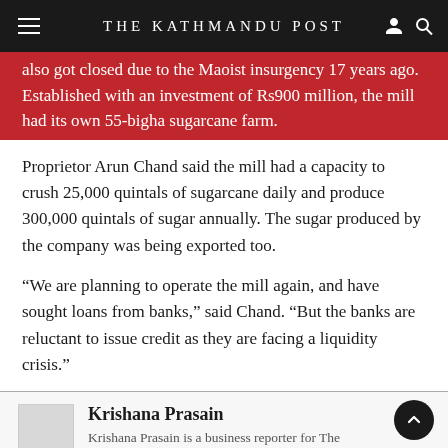THE KATHMANDU POST
...also got closed due to the Maoist insurgency 17 years ago. Established with an investment of Rs900 million, the mill had its own 55-bigha sugarcane farm.
Proprietor Arun Chand said the mill had a capacity to crush 25,000 quintals of sugarcane daily and produce 300,000 quintals of sugar annually. The sugar produced by the company was being exported too.
“We are planning to operate the mill again, and have sought loans from banks,” said Chand. “But the banks are reluctant to issue credit as they are facing a liquidity crisis.”
Krishana Prasain
Krishana Prasain is a business reporter for The